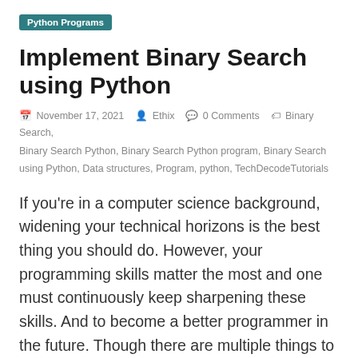Python Programs
Implement Binary Search using Python
November 17, 2021   Ethix   0 Comments   Binary Search, Binary Search Python, Binary Search Python program, Binary Search using Python, Data structures, Program, python, TechDecodeTutorials
If you're in a computer science background, widening your technical horizons is the best thing you should do. However, your programming skills matter the most and one must continuously keep sharpening these skills. And to become a better programmer in the future. Though there are multiple things to focus on, one specific area you must focus on is the world of data structures. Data